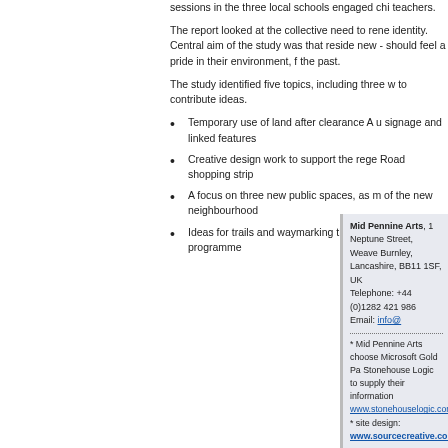sessions in the three local schools engaged chi teachers.
The report looked at the collective need to rene identity. Central aim of the study was that reside new - should feel a pride in their environment, f the past.
The study identified five topics, including three w to contribute ideas.
Temporary use of land after clearance A u signage and linked features
Creative design work to support the rege Road shopping strip
A focus on three new public spaces, as m of the new neighbourhood
Ideas for trails and waymarking that can s community programme
Mid Pennine Arts, 1 Neptune Street, Weave Burnley, Lancashire, BB11 1SF, UK Telephone: +44 (0)1282 421 986 Email: info@
* Mid Pennine Arts choose Microsoft Gold Pa Stonehouse Logic to supply their information www.stonehouselogic.com * site design: www.sourcecreative.co.uk